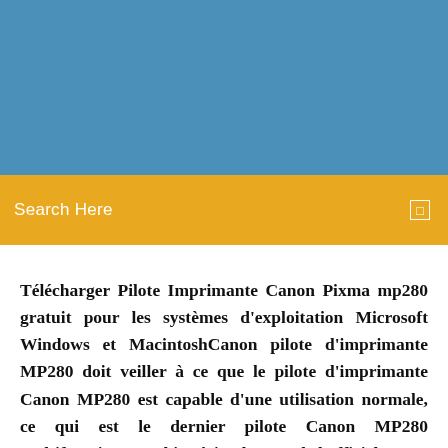[Figure (other): Blue banner header background]
Search Here
Télécharger Pilote Imprimante Canon Pixma mp280 gratuit pour les systèmes d'exploitation Microsoft Windows et MacintoshCanon pilote d'imprimante MP280 doit veiller à ce que le pilote d'imprimante Canon MP280 est capable d'une utilisation normale, ce qui est le dernier pilote Canon MP280 multifonctions machine à jet d'encre de l'officiel.